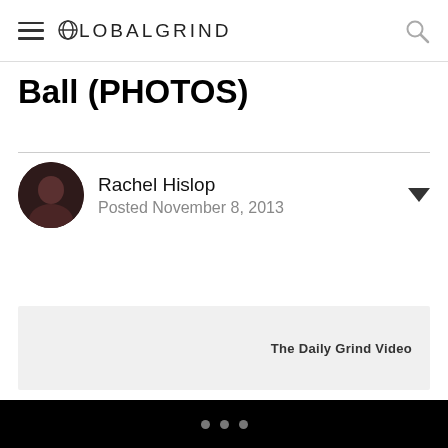GLOBALGRIND
Ball (PHOTOS)
Rachel Hislop
Posted November 8, 2013
[Figure (other): Video thumbnail placeholder with label 'The Daily Grind Video']
Last night, Alicia Keys rolled out the black carpet in New York City for a very special milestone: the 10th anniversary